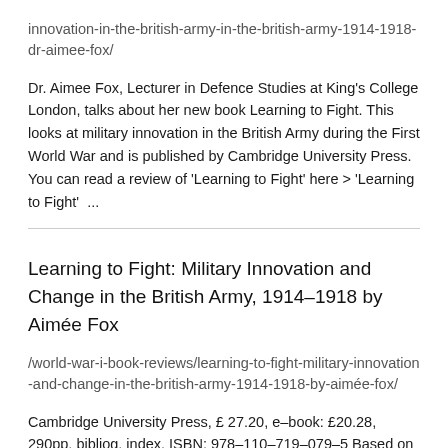innovation-in-the-british-army-in-the-british-army-1914-1918-dr-aimee-fox/
Dr. Aimee Fox, Lecturer in Defence Studies at King's College London, talks about her new book Learning to Fight. This looks at military innovation in the British Army during the First World War and is published by Cambridge University Press. You can read a review of 'Learning to Fight' here > 'Learning to Fight'  ...
Learning to Fight: Military Innovation and Change in the British Army, 1914–1918 by Aimée Fox
/world-war-i-book-reviews/learning-to-fight-military-innovation-and-change-in-the-british-army-1914-1918-by-aimée-fox/
Cambridge University Press, £ 27.20, e–book: £20.28, 290pp, bibliog, index. ISBN: 978–110–719–079–5 Based on the author's PhD thesis, Learning to Fight is divided into two sections. The first, (about one third of the volume), deals with the culture of learning in the British Army in the years leading up to the war and how that